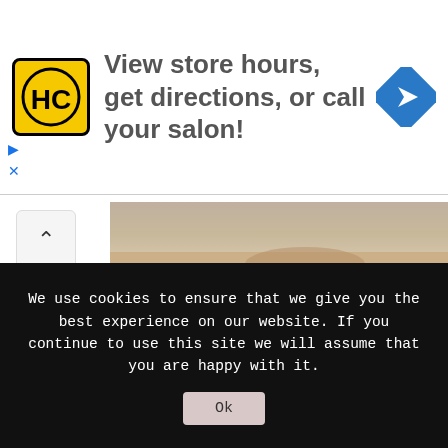[Figure (screenshot): Advertising banner with HC salon logo (yellow square with black HC letters), text 'View store hours, get directions, or call your salon!', and a blue diamond navigation arrow icon on the right. Small play and close icons on the left side.]
[Figure (photo): Cropped photo showing bottom of a white wedding dress train and bare feet on sandy beach.]
a simple off the shoulder wedding dress with a train for a boho feel
[Figure (photo): Photo of a woman with curly dark hair against a light beige/cream background, visible from approximately shoulders up.]
We use cookies to ensure that we give you the best experience on our website. If you continue to use this site we will assume that you are happy with it.